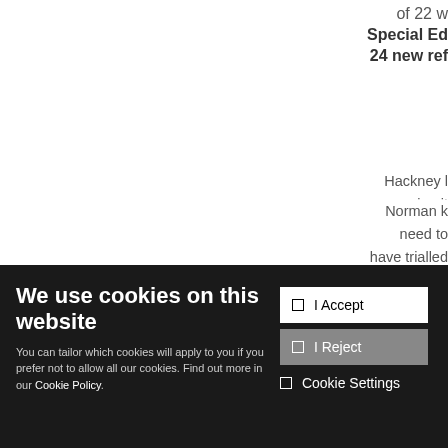of 22 w
Special Ed
24 new ref
Hackney l
running it
Driving initia
Norman k
need to
have trialled
We use cookies on this website
You can tailor which cookies will apply to you if you prefer not to allow all our cookies. Find out more in our Cookie Policy.
I Accept
I Reject
Cookie Settings